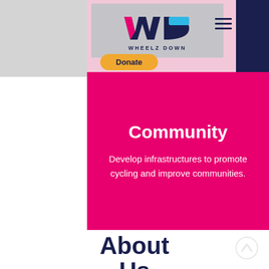[Figure (logo): Wheelz Down logo with pink W and blue D letters, text WHEELZ DOWN below]
Donate
Community
Develop infrastructures to promote cycling and improve communities.
About Us
Wheelz Down Inc is a Non Profit Organization Founded